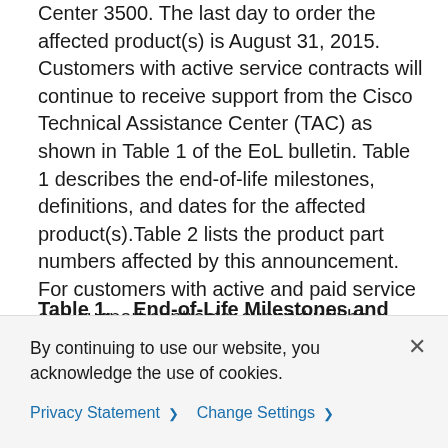Center 3500. The last day to order the affected product(s) is August 31, 2015. Customers with active service contracts will continue to receive support from the Cisco Technical Assistance Center (TAC) as shown in Table 1 of the EoL bulletin. Table 1 describes the end-of-life milestones, definitions, and dates for the affected product(s).Table 2 lists the product part numbers affected by this announcement. For customers with active and paid service and support contracts, support will be available under the terms and conditions of customers' service contract.
Table 1.    End-of-Life Milestones and Dates for the Cisco FireSIGHT Management Center 3500
By continuing to use our website, you acknowledge the use of cookies.
Privacy Statement >   Change Settings >